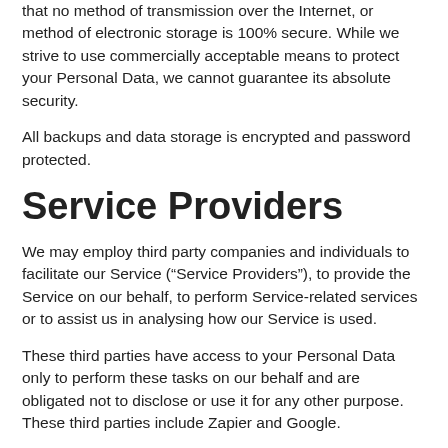that no method of transmission over the Internet, or method of electronic storage is 100% secure. While we strive to use commercially acceptable means to protect your Personal Data, we cannot guarantee its absolute security.
All backups and data storage is encrypted and password protected.
Service Providers
We may employ third party companies and individuals to facilitate our Service (“Service Providers”), to provide the Service on our behalf, to perform Service-related services or to assist us in analysing how our Service is used.
These third parties have access to your Personal Data only to perform these tasks on our behalf and are obligated not to disclose or use it for any other purpose. These third parties include Zapier and Google.
Analytics